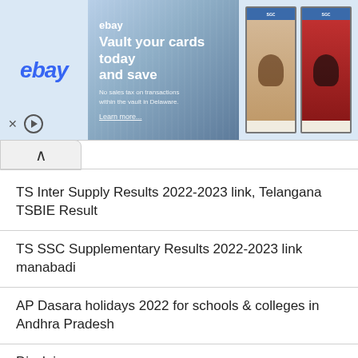[Figure (screenshot): eBay advertisement banner with 'Vault your cards today and save' text and two baseball card images]
TS Inter Supply Results 2022-2023 link, Telangana TSBIE Result
TS SSC Supplementary Results 2022-2023 link manabadi
AP Dasara holidays 2022 for schools & colleges in Andhra Pradesh
Disclaimer
Contact Us